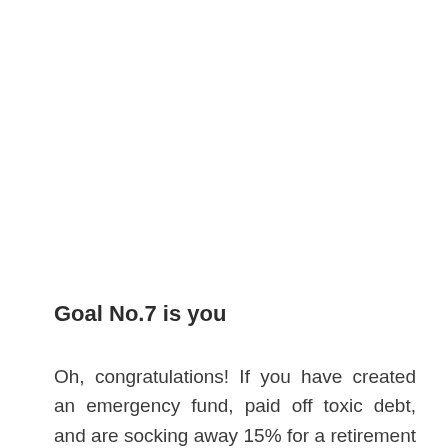Goal No.7 is you
Oh, congratulations! If you have created an emergency fund, paid off toxic debt, and are socking away 15% for a retirement nest